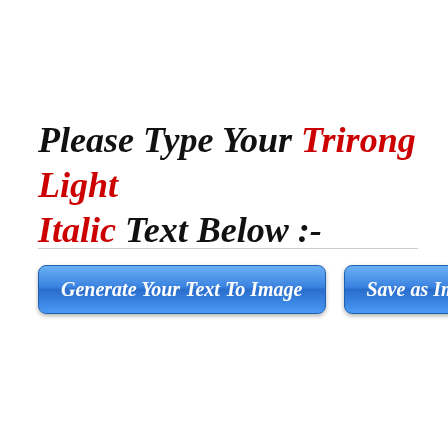Please Type Your Trirong Light Italic Text Below :-
[Figure (screenshot): Two blue gradient buttons: 'Generate Your Text To Image' and 'Save as Image']